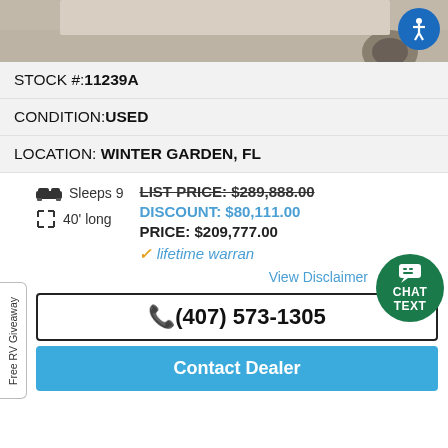[Figure (photo): Top portion of an RV/vehicle photo strip in beige/tan tones, partially cropped]
STOCK #:11239A
CONDITION:USED
LOCATION: WINTER GARDEN, FL
Sleeps 9  40' long  LIST PRICE: $289,888.00  DISCOUNT: $80,111.00  PRICE: $209,777.00  lifetime warranty
View Disclaimer
(407) 573-1305
Contact Dealer
Free RV Giveaway